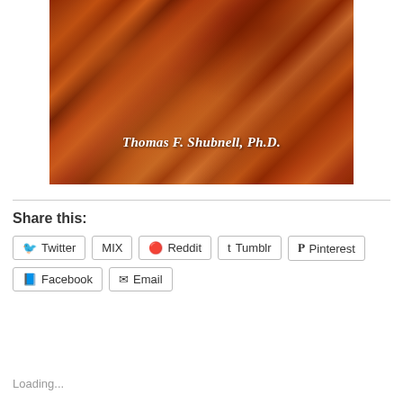[Figure (photo): Close-up photo of cooked bacon strips with text 'Thomas F. Shubnell, Ph.D.' overlaid in white italic bold font]
Share this:
Twitter | MIX | Reddit | Tumblr | Pinterest | Facebook | Email
Loading...